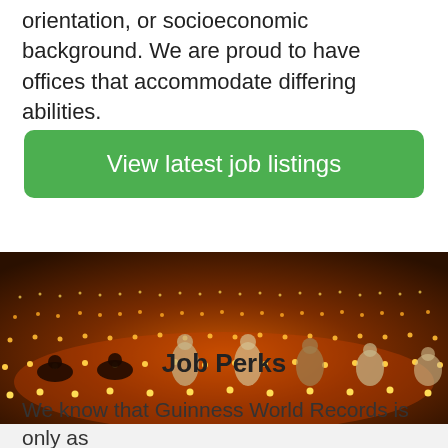orientation, or socioeconomic background. We are proud to have offices that accommodate differing abilities.
[Figure (other): Green button reading 'View latest job listings']
[Figure (photo): Outdoor scene at night with many people crouching on a dark floor surrounded by hundreds of small glowing candle lights arranged in rows, with warm orange and amber tones]
Job Perks
We know that Guinness World Records is only as